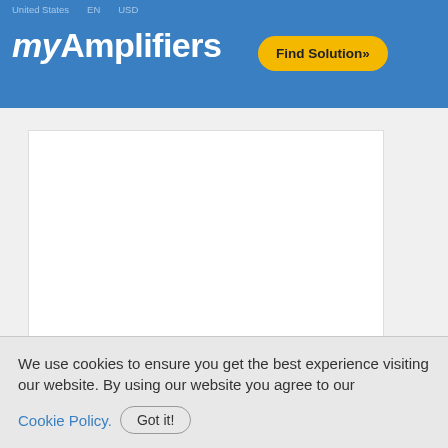United States  EN  USD
myAmplifiers
Find Solution»
[Figure (other): White blank content area box]
We use cookies to ensure you get the best experience visiting our website. By using our website you agree to our Cookie Policy. Got it!